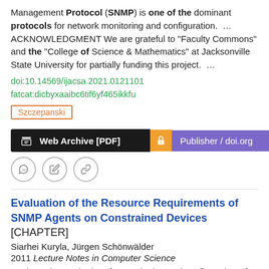Management Protocol (SNMP) is one of the dominant protocols for network monitoring and configuration.  ...  ACKNOWLEDGMENT We are grateful to "Faculty Commons" and the "College of Science & Mathematics" at Jacksonville State University for partially funding this project.  ...
doi:10.14569/ijacsa.2021.0121101
fatcat:dicbyxaaibc6tif6yf465ikkfu
Szczepanski
[Figure (other): Web Archive [PDF] and Publisher / doi.org buttons with icons]
[Figure (other): Three circular icon buttons: quote, edit, link]
Evaluation of the Resource Requirements of SNMP Agents on Constrained Devices [CHAPTER]
Siarhei Kuryla, Jürgen Schönwälder
2011 Lecture Notes in Computer Science
We investigate whether the monitoring and configuration of such constrained devices can be performed by adapting the Simple Network Management Protocol (SNMP) to the capabilities of these devices.  ...  To this end, we have implemented an SNMP agent under